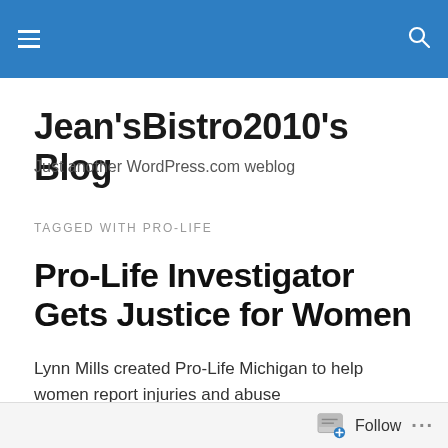Jean'sBistro2010's Blog navigation header
Jean'sBistro2010's Blog
Just another WordPress.com weblog
TAGGED WITH PRO-LIFE
Pro-Life Investigator Gets Justice for Women
Lynn Mills created Pro-Life Michigan to help women report injuries and abuse
Follow